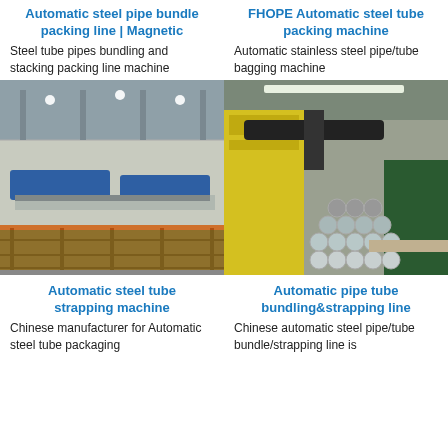Automatic steel pipe bundle packing line | Magnetic
Steel tube pipes bundling and stacking packing line machine
FHOPE Automatic steel tube packing machine
Automatic stainless steel pipe/tube bagging machine
[Figure (photo): Industrial factory floor with steel tube bundling and packing line machinery, orange safety fence in foreground]
[Figure (photo): Yellow industrial machine with bundled steel tubes/pipes stacked together in a factory setting]
Automatic steel tube strapping machine
Chinese manufacturer for Automatic steel tube packaging
Automatic pipe tube bundling&strapping line
Chinese automatic steel pipe/tube bundle/strapping line is